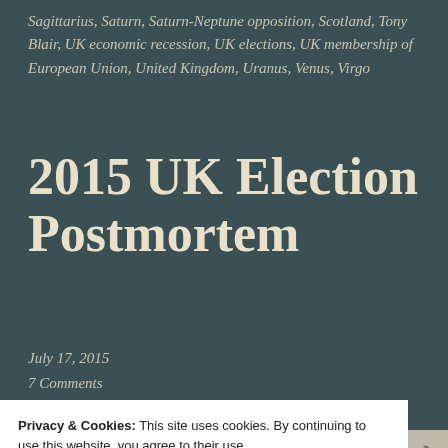Sagittarius, Saturn, Saturn-Neptune opposition, Scotland, Tony Blair, UK economic recession, UK elections, UK membership of European Union, United Kingdom, Uranus, Venus, Virgo
2015 UK Election Postmortem
July 17, 2015
7 Comments
Privacy & Cookies: This site uses cookies. By continuing to use this website, you agree to their use.
To find out more, including how to control cookies, see here: Our Cookie Policy